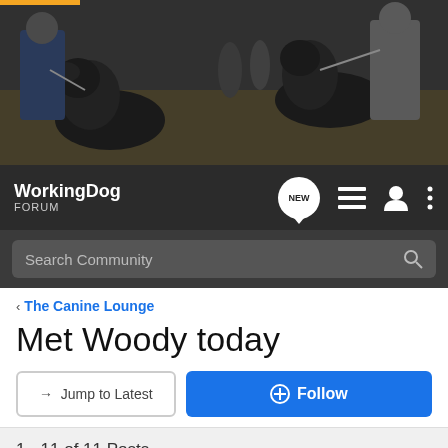[Figure (photo): Header banner photo showing German Shepherd dogs with military/police handlers outdoors]
[Figure (screenshot): WorkingDog Forum navigation bar with logo, NEW chat bubble, list icon, user icon, and menu icon]
Search Community
< The Canine Lounge
Met Woody today
→ Jump to Latest
+ Follow
1 - 11 of 11 Posts
Bob Scott · Premium Member
Joined Mar 29, 2006 · 21,867 Posts